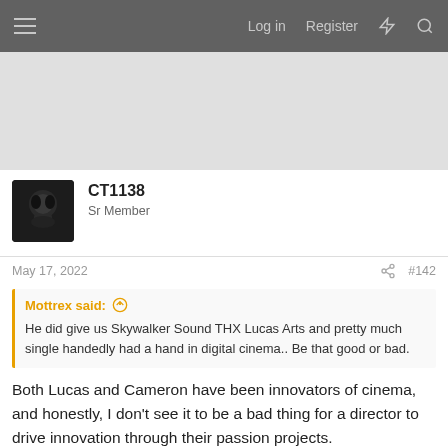Log in   Register
[Figure (other): Advertisement banner area (gray placeholder)]
CT1138
Sr Member
May 17, 2022   #142
Mottrex said: He did give us Skywalker Sound THX Lucas Arts and pretty much single handedly had a hand in digital cinema.. Be that good or bad.
Both Lucas and Cameron have been innovators of cinema, and honestly, I don't see it to be a bad thing for a director to drive innovation through their passion projects.